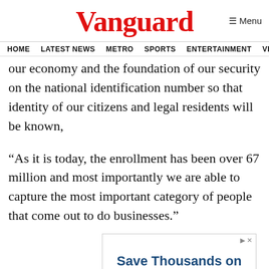Vanguard
HOME  LATEST NEWS  METRO  SPORTS  ENTERTAINMENT  VIDEOS
our economy and the foundation of our security on the national identification number so that identity of our citizens and legal residents will be known,
“As it is today, the enrollment has been over 67 million and most importantly we are able to capture the most important category of people that come out to do businesses.”
[Figure (other): Advertisement box with text 'Save Thousands on']